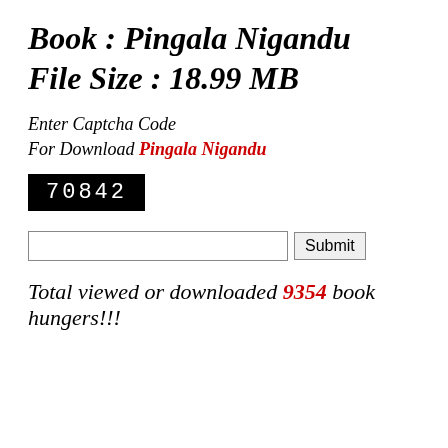Book : Pingala Nigandu
File Size : 18.99 MB
Enter Captcha Code
For Download Pingala Nigandu
[Figure (other): CAPTCHA image showing code 70842 in white text on black background]
[text input field] [Submit button]
Total viewed or downloaded 9354 book hungers!!!